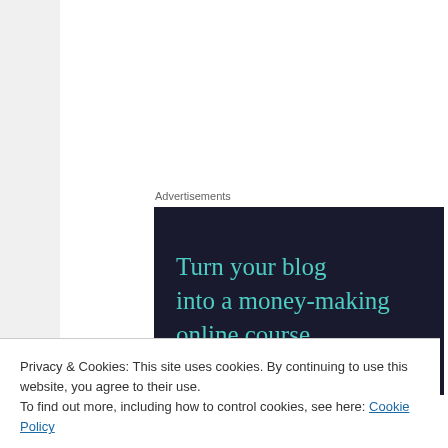Advertisements
[Figure (illustration): Dark navy blue advertisement banner with teal/turquoise text reading: Turn your blog into a money-making online course.]
As I came by the Pacifica office, Sandra was busy calling folks and insuring that they did not set off into harms way. She looked down at the dock and made sure that all rental folks were safely returning. It is said that there are folk of actions
Privacy & Cookies: This site uses cookies. By continuing to use this website, you agree to their use.
To find out more, including how to control cookies, see here: Cookie Policy
Close and accept
away the rough edges. Without a bunch of hoopla, they